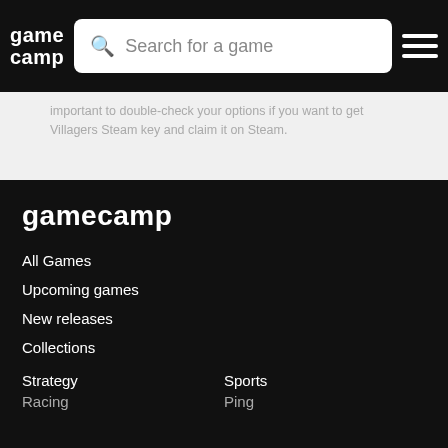gamecamp — Search for a game (navigation bar with hamburger menu)
important to double-check your options if you want to get Villagers Steam key and claim it on Steam.
gamecamp
All Games
Upcoming games
New releases
Collections
Strategy
Sports
Racing
Ping